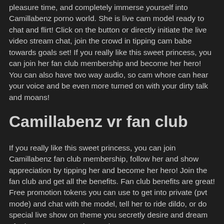pleasure time, and completely immerse yourself into Camillabenz porno world. She is live cam model ready to chat and flirt! Click on the button or directly initiate the live video stream chat, join the crowd in tipping cam babe towards goals set! If you really like this sweet princess, you can join her fan club membership and become her hero! You can also have two way audio, so cam whore can hear your voice and be even more turned on with your dirty talk and moans!
Camillabenz vr fan club
If you really like this sweet princess, you can join Camillabenz fan club membership, follow her and show appreciation by tipping her and become her hero! Join the fan club and get all the benefits. Fan club benefits are great! Free promotion tokens you can use to get into private (pvt mode) and chat with the model, tell her to ride dildo, or do special live show on theme you secretly desire and dream of! There are no wet dreams here